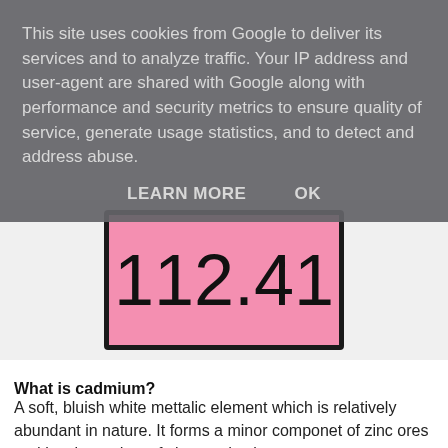This site uses cookies from Google to deliver its services and to analyze traffic. Your IP address and user-agent are shared with Google along with performance and security metrics to ensure quality of service, generate usage statistics, and to detect and address abuse.
LEARN MORE   OK
[Figure (other): Pink element tile showing the number 112.41 in large black text on a pink background inside a dark-bordered box, representing the atomic mass of cadmium.]
What is cadmium?
A soft, bluish white mettalic element which is relatively abundant in nature. It forms a minor componet of zinc ores and is a byproduct of zinc production.
Why is it in the news?
McDonalds, the fast-food giant, has had to recall 12 million Shrek drinking glasses in the US "out of an abundance of caution" after slightly elevated levels of cadmium were found